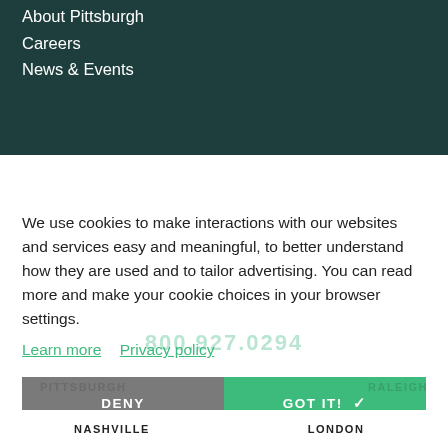About Pittsburgh
Careers
News & Events
We use cookies to make interactions with our websites and services easy and meaningful, to better understand how they are used and to tailor advertising. You can read more and make your cookie choices in your browser settings.
Learn more   Privacy policy
DENY
GOT IT!
NASHVILLE
LONDON